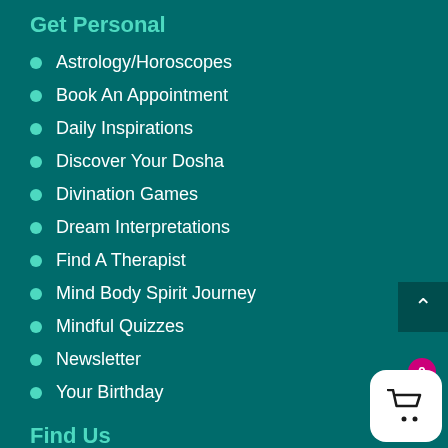Get Personal
Astrology/Horoscopes
Book An Appointment
Daily Inspirations
Discover Your Dosha
Divination Games
Dream Interpretations
Find A Therapist
Mind Body Spirit Journey
Mindful Quizzes
Newsletter
Your Birthday
Find Us
New York office